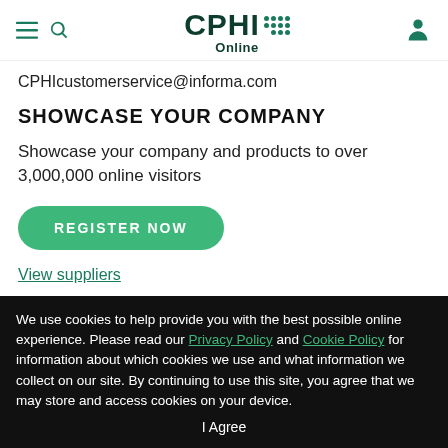CPHI Online
CPHIcustomerservice@informa.com
SHOWCASE YOUR COMPANY
Showcase your company and products to over 3,000,000 online visitors
REGISTER NOW
View suppliers
We use cookies to help provide you with the best possible online experience. Please read our Privacy Policy and Cookie Policy for information about which cookies we use and what information we collect on our site. By continuing to use this site, you agree that we may store and access cookies on your device.
I Agree